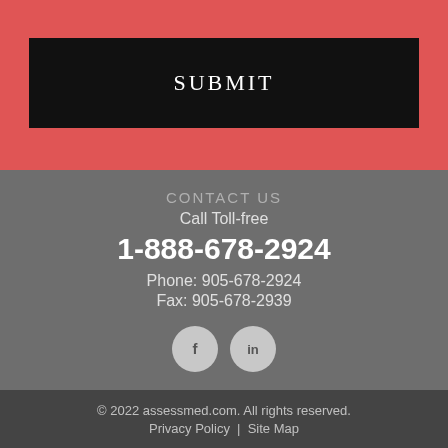SUBMIT
CONTACT US
Call Toll-free
1-888-678-2924
Phone: 905-678-2924
Fax: 905-678-2939
[Figure (illustration): Social media icons: Facebook (f) and LinkedIn (in) in light gray circles]
© 2022 assessmed.com. All rights reserved. Privacy Policy | Site Map